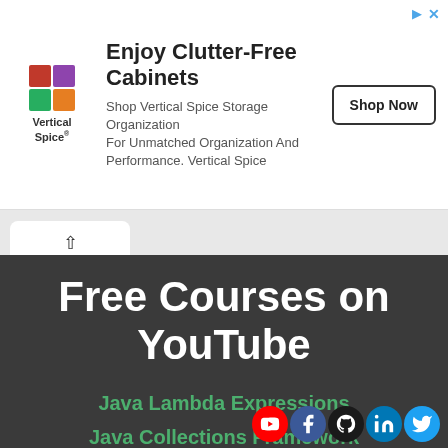[Figure (screenshot): Advertisement banner for Vertical Spice storage organization with logo, headline 'Enjoy Clutter-Free Cabinets', body text, and 'Shop Now' button]
Free Courses on YouTube
Java Lambda Expressions
Java Collections Framework
Java Functional Interfaces
Spring Boot Tu...
[Figure (logo): Social media icons: YouTube, Facebook, GitHub, LinkedIn, Twitter]